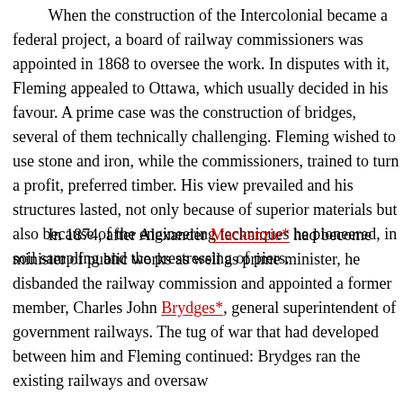When the construction of the Intercolonial became a federal project, a board of railway commissioners was appointed in 1868 to oversee the work. In disputes with it, Fleming appealed to Ottawa, which usually decided in his favour. A prime case was the construction of bridges, several of them technically challenging. Fleming wished to use stone and iron, while the commissioners, trained to turn a profit, preferred timber. His view prevailed and his structures lasted, not only because of superior materials but also because of the engineering techniques he pioneered, in soil sampling and the prestressing of piers.
In 1874, after Alexander Mackenzie* had become minister of public works as well as prime minister, he disbanded the railway commission and appointed a former member, Charles John Brydges*, general superintendent of government railways. The tug of war that had developed between him and Fleming continued: Brydges ran the existing railways and oversaw